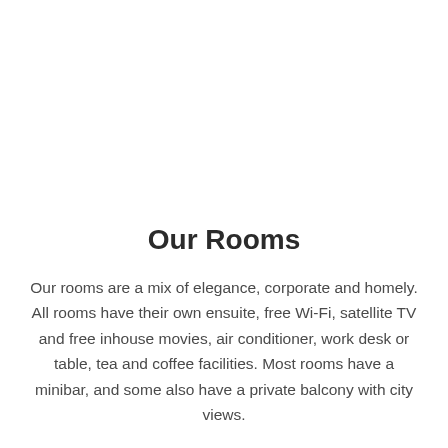Our Rooms
Our rooms are a mix of elegance, corporate and homely. All rooms have their own ensuite, free Wi-Fi, satellite TV and free inhouse movies, air conditioner, work desk or table, tea and coffee facilities. Most rooms have a minibar, and some also have a private balcony with city views.